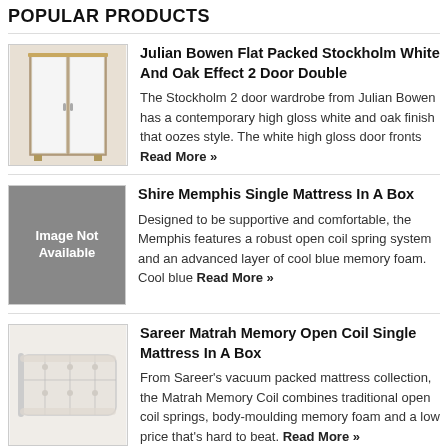POPULAR PRODUCTS
[Figure (illustration): Photo of Julian Bowen Stockholm white and oak effect 2 door double wardrobe]
Julian Bowen Flat Packed Stockholm White And Oak Effect 2 Door Double
The Stockholm 2 door wardrobe from Julian Bowen has a contemporary high gloss white and oak finish that oozes style. The white high gloss door fronts Read More »
[Figure (illustration): Image Not Available placeholder for Shire Memphis Single Mattress In A Box]
Shire Memphis Single Mattress In A Box
Designed to be supportive and comfortable, the Memphis features a robust open coil spring system and an advanced layer of cool blue memory foam. Cool blue Read More »
[Figure (photo): Photo of Sareer Matrah Memory Open Coil Single Mattress In A Box]
Sareer Matrah Memory Open Coil Single Mattress In A Box
From Sareer's vacuum packed mattress collection, the Matrah Memory Coil combines traditional open coil springs, body-moulding memory foam and a low price that's hard to beat. Read More »
[Figure (photo): Partial photo of Deluxe Nicole Pocket 2000 160 X 200 Euro (ikea) Size mattress]
Deluxe Nicole Pocket 2000 160 X 200 Euro (ikea) Size